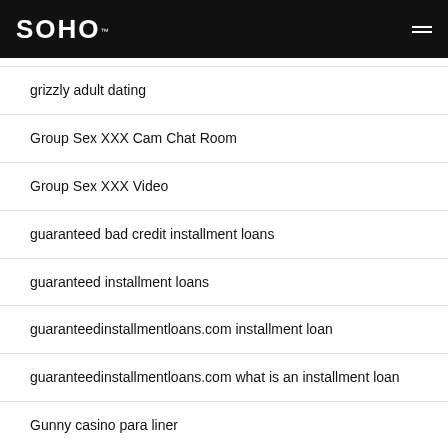SOHO
grizzly adult dating
Group Sex XXX Cam Chat Room
Group Sex XXX Video
guaranteed bad credit installment loans
guaranteed installment loans
guaranteedinstallmentloans.com installment loan
guaranteedinstallmentloans.com what is an installment loan
Gunny casino para liner